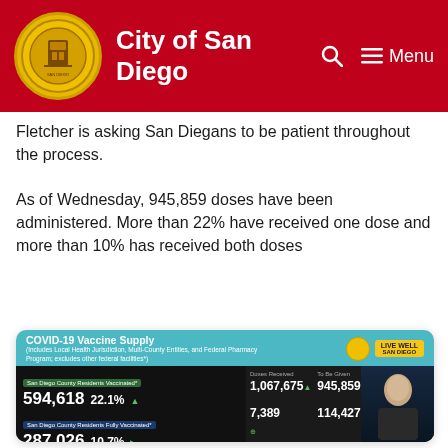City of San Diego
Fletcher is asking San Diegans to be patient throughout the process.
As of Wednesday, 945,859 doses have been administered. More than 22% have received one dose and more than 10% has received both doses
[Figure (screenshot): COVID-19 Vaccine Supply dashboard screenshot showing San Diego County data: 594,618 residents partially vaccinated (22.1%), 287,026 fully vaccinated (10.7%), Doses Received: 1,067,675, Doses Administered: 945,859, 7,389 and 114,427 figures, plus pie charts and a person signing, with Live Well San Diego branding]